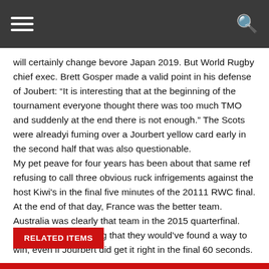Navigation bar with hamburger menu and search icon
will certainly change bevore Japan 2019. But World Rugby chief exec. Brett Gosper made a valid point in his defense of Joubert: “It is interesting that at the beginning of the tournament everyone thought there was too much TMO and suddenly at the end there is not enough.” The Scots were alreadyi fuming over a Jourbert yellow card early in the second half that was also questionable.
My pet peave for four years has been about that same ref refusing to call three obvious ruck infrigements against the host Kiwi's in the final five minutes of the 20111 RWC final. At the end of that day, France was the better team. Australia was clearly that team in the 2015 quarterfinal. And it is my gut feeling that they would’ve found a way to win, even if Jourbert did get it right in the final 60 seconds.
RELATED ITEMS